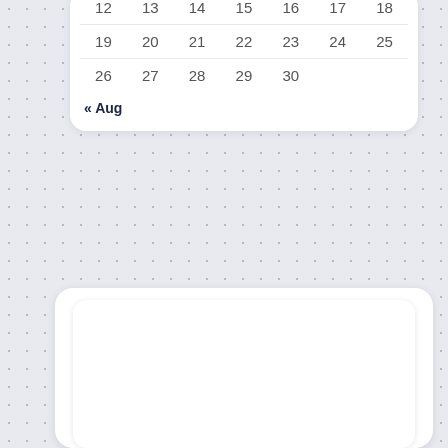| 12 | 13 | 14 | 15 | 16 | 17 | 18 |
| 19 | 20 | 21 | 22 | 23 | 24 | 25 |
| 26 | 27 | 28 | 29 | 30 |  |  |
« Aug
[Figure (other): Empty white card widget placeholder]
shopgioia.com
businessfinancee.my.id
healthcares.my.id
homeservices.my.id
legalatternoynews.my.id